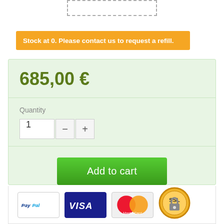[Figure (other): Dashed placeholder rectangle for product image]
Stock at 0. Please contact us to request a refill.
685,00 €
Quantity
Add to cart
Add to wishlist
[Figure (other): Payment icons: PayPal, VISA, MasterCard, and SSL security badge]